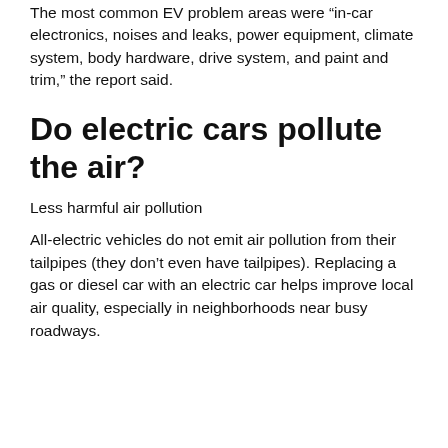The most common EV problem areas were “in-car electronics, noises and leaks, power equipment, climate system, body hardware, drive system, and paint and trim,” the report said.
Do electric cars pollute the air?
Less harmful air pollution
All-electric vehicles do not emit air pollution from their tailpipes (they don’t even have tailpipes). Replacing a gas or diesel car with an electric car helps improve local air quality, especially in neighborhoods near busy roadways.